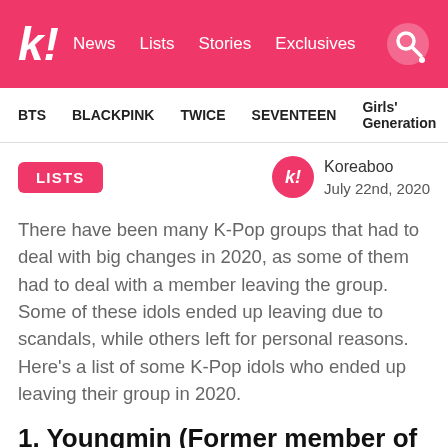k! News Lists Stories Exclusives
BTS BLACKPINK TWICE SEVENTEEN Girls' Generation
LISTS
Koreaboo July 22nd, 2020
There have been many K-Pop groups that had to deal with big changes in 2020, as some of them had to deal with a member leaving the group. Some of these idols ended up leaving due to scandals, while others left for personal reasons. Here's a list of some K-Pop idols who ended up leaving their group in 2020.
1. Youngmin (Former member of AB6IX)